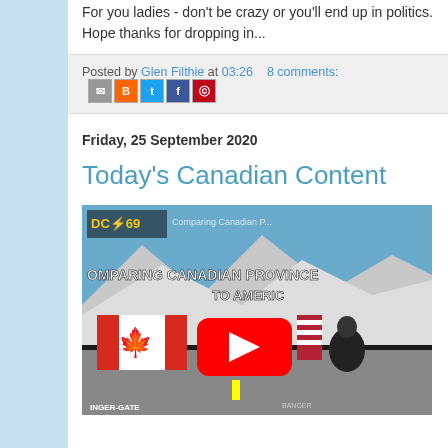For you ladies - don't be crazy or you'll end up in politics. Hope thanks for dropping in...
Posted by Glen Filthie at 03:26   8 comments:
Friday, 25 September 2020
Today's Canadian Content
[Figure (screenshot): YouTube video thumbnail showing DC69 channel - 'Comparing Canadian Provinces to America' with Canadian flag, YouTube play button, person standing on road with mountains in background]